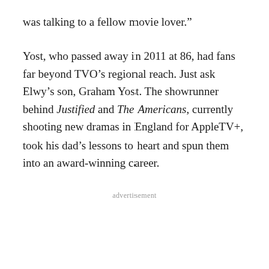was talking to a fellow movie lover.”
Yost, who passed away in 2011 at 86, had fans far beyond TVO’s regional reach. Just ask Elwy’s son, Graham Yost. The showrunner behind Justified and The Americans, currently shooting new dramas in England for AppleTV+, took his dad’s lessons to heart and spun them into an award-winning career.
advertisement